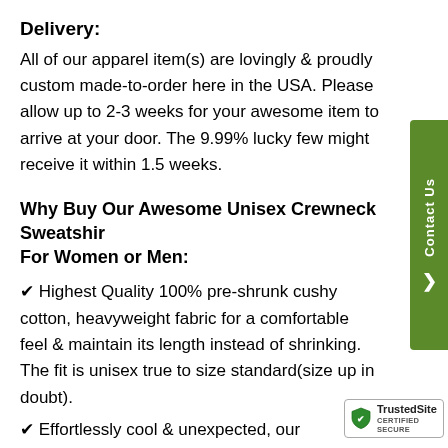Delivery:
All of our apparel item(s) are lovingly & proudly custom made-to-order here in the USA. Please allow up to 2-3 weeks for your awesome item to arrive at your door. The 9.99% lucky few might receive it within 1.5 weeks.
Why Buy Our Awesome Unisex Crewneck Sweatshirt For Women or Men:
✔ Highest Quality 100% pre-shrunk cushy cotton, heavyweight fabric for a comfortable feel & maintain its length instead of shrinking. The fit is unisex true to size standard(size up in doubt).
✔ Effortlessly cool & unexpected, our professionally printed crewneck sweatshirts will add a punch to your everyday wardrobe. All lovingly custom made-to-order to wear well & remain relevant season after season